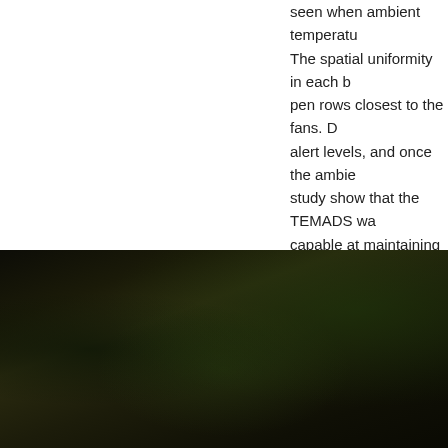seen when ambient temperatu... The spatial uniformity in each b pen rows closest to the fans. D alert levels, and once the ambie study show that the TEMADS wa capable at maintaining the set-p
(Download PDF)   (Export to En...
[Figure (photo): Dark photograph showing a person in a green outfit/hat in a dark agricultural or outdoor setting with dark foliage in the background.]